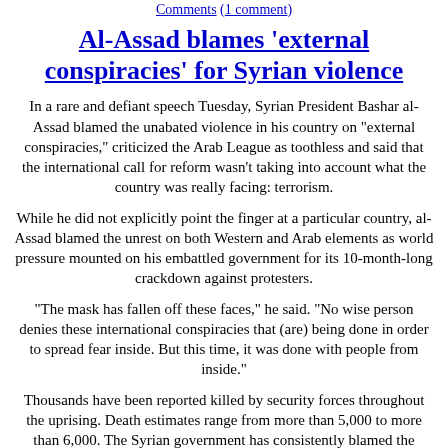Comments (1 comment)
Al-Assad blames 'external conspiracies' for Syrian violence
In a rare and defiant speech Tuesday, Syrian President Bashar al-Assad blamed the unabated violence in his country on "external conspiracies," criticized the Arab League as toothless and said that the international call for reform wasn't taking into account what the country was really facing: terrorism.
While he did not explicitly point the finger at a particular country, al-Assad blamed the unrest on both Western and Arab elements as world pressure mounted on his embattled government for its 10-month-long crackdown against protesters.
"The mask has fallen off these faces," he said. "No wise person denies these international conspiracies that (are) being done in order to spread fear inside. But this time, it was done with people from inside."
Thousands have been reported killed by security forces throughout the uprising. Death estimates range from more than 5,000 to more than 6,000. The Syrian government has consistently blamed the